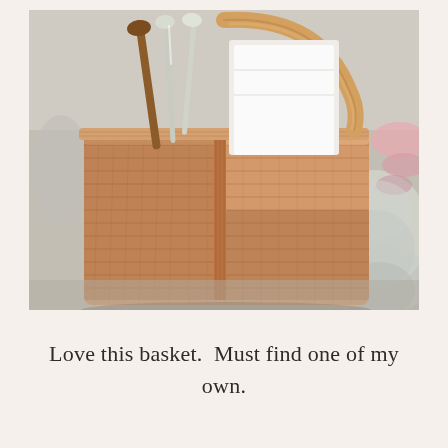[Figure (photo): A wicker/rattan caddy basket holding silver spoons, a wooden spoon, white napkins, and other items, placed on a table with glass jars visible in the background.]
Love this basket.  Must find one of my own.